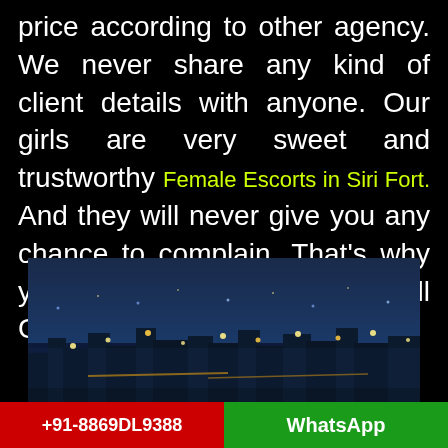price according to other agency. We never share any kind of client details with anyone. Our girls are very sweet and trustworthy Female Escorts in Siri Fort. And they will never give you any chance to complain. That's why you need to book our Sexy Call Girls.
[Figure (photo): Night cityscape with city lights and illuminated streets, showing an aerial view of a city at night with blue-toned atmosphere.]
+91-8869DL9388
WhatsApp